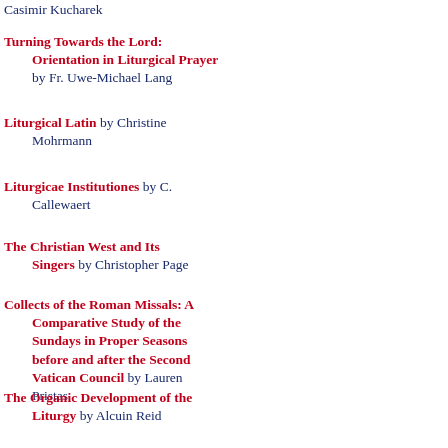Casimir Kucharek
Turning Towards the Lord: Orientation in Liturgical Prayer by Fr. Uwe-Michael Lang
Liturgical Latin by Christine Mohrmann
Liturgicae Institutiones by C. Callewaert
The Christian West and Its Singers by Christopher Page
Collects of the Roman Missals: A Comparative Study of the Sundays in Proper Seasons before and after the Second Vatican Council by Lauren Pristas
The Organic Development of the Liturgy by Alcuin Reid
Vestments and Vesture by Dom E.A. Roulin
The Byzantine Liturgy by H.